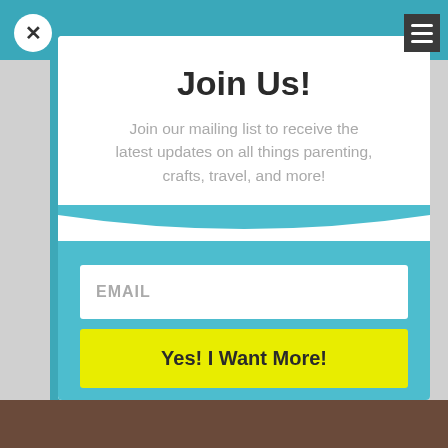Join Us!
Join our mailing list to receive the latest updates on all things parenting, crafts, travel, and more!
EMAIL
Yes! I Want More!
By filling out this form you are agreeing to receive emails from J Helgren Media LLC (The Mommy Bunch, Rock Your Craft). Spam Free. Unsubscribe at any time.